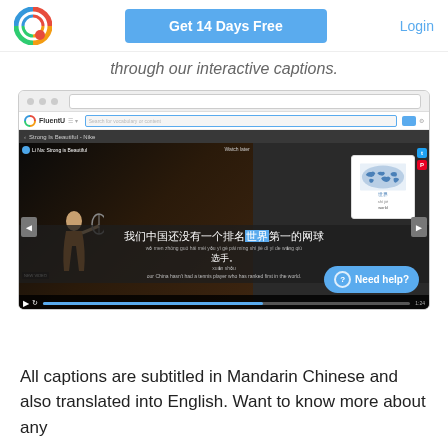Get 14 Days Free | Login
through our interactive captions.
[Figure (screenshot): Screenshot of FluentU app showing a Nike 'Strong is Beautiful' video with Chinese subtitles, interactive caption popup showing world map and the word 'world', navigation arrows, video controls, and a 'Need help?' button.]
All captions are subtitled in Mandarin Chinese and also translated into English. Want to know more about any